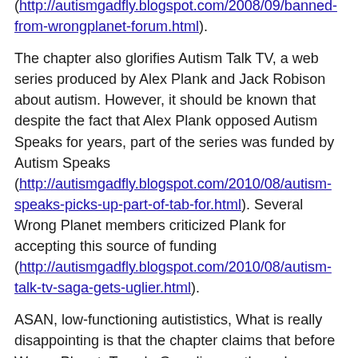(http://autismgadfly.blogspot.com/2008/09/banned-from-wrongplanet-forum.html).
The chapter also glorifies Autism Talk TV, a web series produced by Alex Plank and Jack Robison about autism. However, it should be known that despite the fact that Alex Plank opposed Autism Speaks for years, part of the series was funded by Autism Speaks (http://autismgadfly.blogspot.com/2010/08/autism-speaks-picks-up-part-of-tab-for.html). Several Wrong Planet members criticized Plank for accepting this source of funding (http://autismgadfly.blogspot.com/2010/08/autism-talk-tv-saga-gets-uglier.html).
ASAN, low-functioning autististics, What is really disappointing is that the chapter claims that before Wrong Planet, Temple Grandin was the only speaking autistic